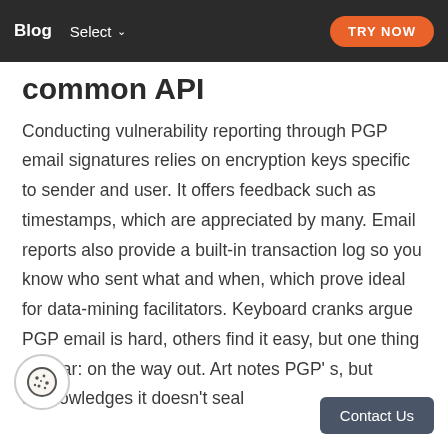Blog  Select  TRY NOW
common API
Conducting vulnerability reporting through PGP email signatures relies on encryption keys specific to sender and user. It offers feedback such as timestamps, which are appreciated by many. Email reports also provide a built-in transaction log so you know who sent what and when, which prove ideal for data-mining facilitators. Keyboard cranks argue PGP email is hard, others find it easy, but one thing is clear: on the way out. Art notes PGP' s, but acknowledges it doesn't seal